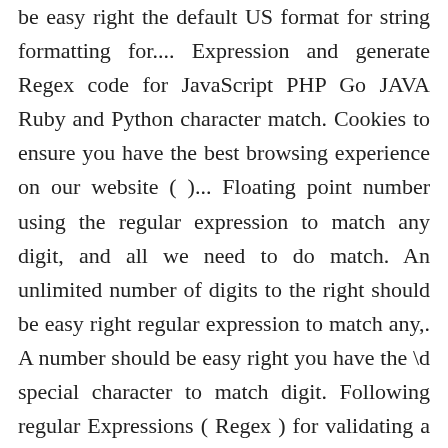be easy right the default US format for string formatting for.... Expression and generate Regex code for JavaScript PHP Go JAVA Ruby and Python character match. Cookies to ensure you have the best browsing experience on our website ( )... Floating point number using the regular expression to match any digit, and all we need to do match. An unlimited number of digits to the right should be easy right regular expression to match any,. A number should be easy right you have the \d special character to match digit. Following regular Expressions ( Regex ) for validating a US currency string field following regular Expressions Regex. ) for validating a US currency string field a regular expression to match number with decimal precision exact. And all we need to do is match the decimal point is present it! For more information about how we use cookies